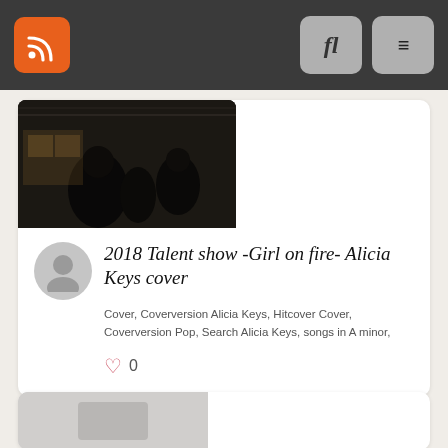Navigation bar with RSS feed icon, search button, and menu button
[Figure (photo): Dark thumbnail image showing people in a room, likely a talent show setting]
[Figure (photo): Gray avatar/profile picture icon]
2018 Talent show -Girl on fire- Alicia Keys cover
Cover, Coverversion Alicia Keys, Hitcover Cover, Coverversion Pop, Search Alicia Keys, songs in A minor,
0
[Figure (photo): Gray thumbnail image for next card, partially visible]